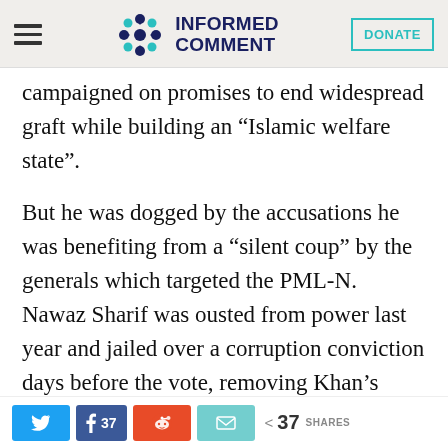Informed Comment — DONATE
campaigned on promises to end widespread graft while building an “Islamic welfare state”.
But he was dogged by the accusations he was benefiting from a “silent coup” by the generals which targeted the PML-N. Nawaz Sharif was ousted from power last year and jailed over a corruption conviction days before the vote, removing Khan’s most dangerous rival.
Twitter | Facebook 37 | Reddit | Email | < 37 SHARES